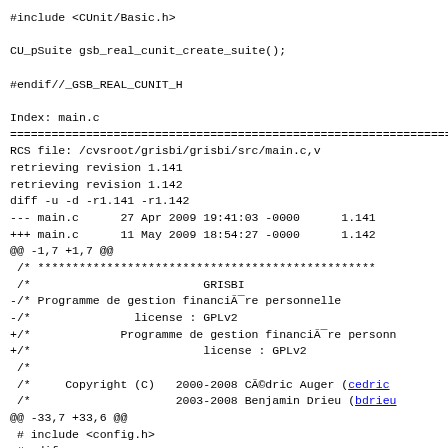#include <CUnit/Basic.h>
CU_pSuite gsb_real_cunit_create_suite();
#endif//_GSB_REAL_CUNIT_H
Index: main.c
================================================================
RCS file: /cvsroot/grisbi/grisbi/src/main.c,v
retrieving revision 1.141
retrieving revision 1.142
diff -u -d -r1.141 -r1.142
--- main.c      27 Apr 2009 19:41:03 -0000      1.141
+++ main.c      11 May 2009 18:54:27 -0000      1.142
@@ -1,7 +1,7 @@
 /* ************************************************
 /*                          GRISBI
-/* Programme de gestion financière personnelle
-/*                license : GPLv2
+/*              Programme de gestion financière personn
+/*                          license : GPLv2
 /*
 /*      Copyright (C)    2000-2008 Cédric Auger (cedric
 /*                        2003-2008 Benjamin Drieu (bdrieu
@@ -33,7 +33,6 @@
 # include <config.h>
 #endif

-